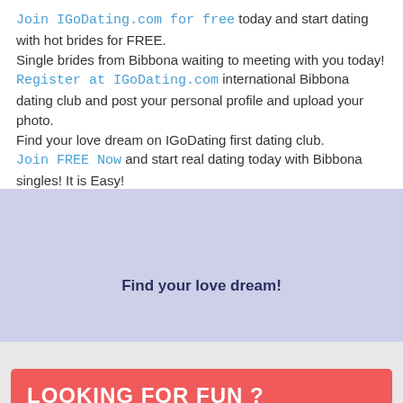Join IGoDating.com for free today and start dating with hot brides for FREE.
Single brides from Bibbona waiting to meeting with you today!
Register at IGoDating.com international Bibbona dating club and post your personal profile and upload your photo.
Find your love dream on IGoDating first dating club.
Join FREE Now and start real dating today with Bibbona singles! It is Easy!
Find your love dream!
LOOKING FOR FUN ?